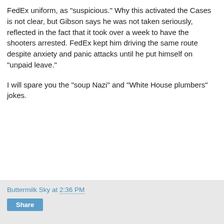FedEx uniform, as "suspicious."  Why this activated the Cases is not clear, but Gibson says he was not taken seriously, reflected in the fact that it took over a week to have the shooters arrested.  FedEx kept him driving the same route despite anxiety and panic attacks until he put himself on "unpaid leave."
I will spare you the "soup Nazi" and "White House plumbers" jokes.
Buttermilk Sky at 2:36 PM